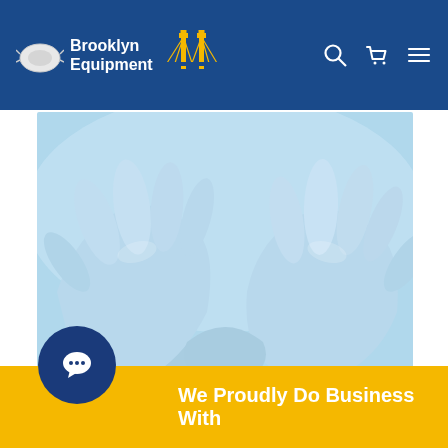Brooklyn Equipment
[Figure (photo): Close-up of two hands wearing light blue nitrile/latex gloves touching fingertips against a blue background]
Gloves!
All gloves, from nitrile to latex
Shop Gloves
We Proudly Do Business With